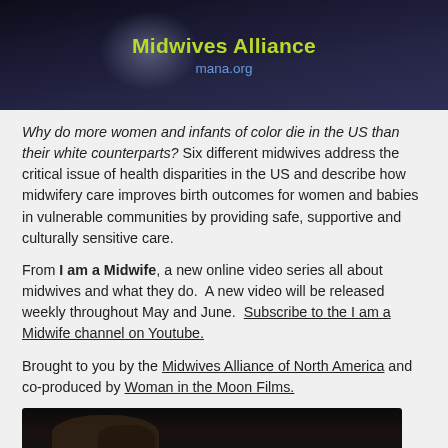[Figure (screenshot): Dark blue/purple background image with 'Midwives Alliance' in green/yellow text and 'mana.org' in blue text below it, with a soft glow effect on the left side.]
Why do more women and infants of color die in the US than their white counterparts? Six different midwives address the critical issue of health disparities in the US and describe how midwifery care improves birth outcomes for women and babies in vulnerable communities by providing safe, supportive and culturally sensitive care.
From I am a Midwife, a new online video series all about midwives and what they do.  A new video will be released weekly throughout May and June.  Subscribe to the I am a Midwife channel on Youtube.
Brought to you by the Midwives Alliance of North America and co-produced by Woman in the Moon Films.
[Figure (photo): Dark bottom image showing a silhouette figure against a dark background.]